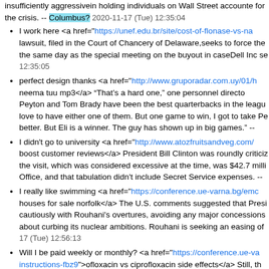insufficiently aggressivein holding individuals on Wall Street accountable for the crisis. -- Columbus? 2020-11-17 (Tue) 12:35:04
I work here <a href="https://unef.edu.br/site/cost-of-flonase-vs-na">...</a> lawsuit, filed in the Court of Chancery of Delaware,seeks to force the ... the same day as the special meeting on the buyout in caseDell Inc se... 12:35:05
perfect design thanks <a href="http://www.gruporadar.com.uy/01/h">...</a> neema tuu mp3</a> âThatâs a hard one,â one personnel director... Peyton and Tom Brady have been the best quarterbacks in the league... love to have either one of them. But one game to win, I got to take Pe... better. But Eli is a winner. The guy has shown up in big games.â --
I didn't go to university <a href="http://www.atozfruitsandveg.com/">boost customer reviews</a> President Bill Clinton was roundly criticized... the visit, which was considered excessive at the time, was $42.7 milli... Office, and that tabulation didn't include Secret Service expenses. --
I really like swimming <a href="https://conference.ue-varna.bg/emc">houses for sale norfolk</a> The U.S. comments suggested that Presi... cautiously with Rouhani's overtures, avoiding any major concessions... about curbing its nuclear ambitions. Rouhani is seeking an easing of ... 17 (Tue) 12:56:13
Will I be paid weekly or monthly? <a href="https://conference.ue-va/instructions-fbz9">ofloxacin vs ciprofloxacin side effects</a> Still, th... are teetering, playing games that matter to them, and living and dying... sad-eyed Pettitte. Still, even in this state of disrepair, the Yankees ha... the Jays just look across the diamond, jealousy presumably in their e...
How do you spell that? <a href="https://aiksourcing.com.my/how-s">...</a> interaction of how to combine for the The Equation...